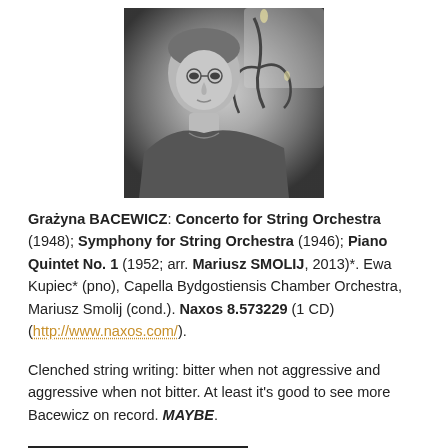[Figure (photo): Black and white photograph of Grażyna Bacewicz, a woman seated near an ornate iron candelabra or wall fixture.]
Grażyna BACEWICZ: Concerto for String Orchestra (1948); Symphony for String Orchestra (1946); Piano Quintet No. 1 (1952; arr. Mariusz SMOLIJ, 2013)*. Ewa Kupiec* (pno), Capella Bydgostiensis Chamber Orchestra, Mariusz Smolij (cond.). Naxos 8.573229 (1 CD) (http://www.naxos.com/).
Clenched string writing: bitter when not aggressive and aggressive when not bitter. At least it's good to see more Bacewicz on record. MAYBE.